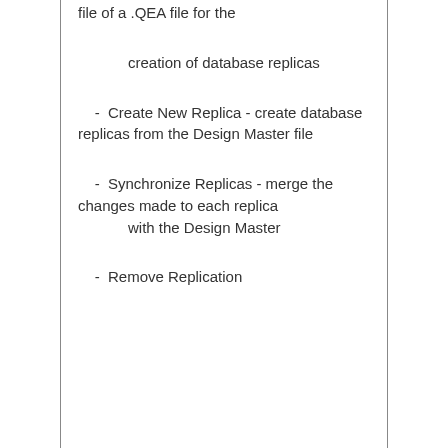file of a .QEA file for the
creation of database replicas
-  Create New Replica - create database replicas from the Design Master file
-  Synchronize Replicas - merge the changes made to each replica with the Design Master
-  Remove Replication